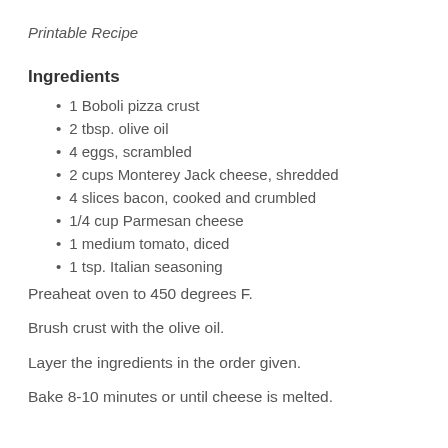Printable Recipe
Ingredients
1 Boboli pizza crust
2 tbsp. olive oil
4 eggs, scrambled
2 cups Monterey Jack cheese, shredded
4 slices bacon, cooked and crumbled
1/4 cup Parmesan cheese
1 medium tomato, diced
1 tsp. Italian seasoning
Preaheat oven to 450 degrees F.
Brush crust with the olive oil.
Layer the ingredients in the order given.
Bake 8-10 minutes or until cheese is melted.